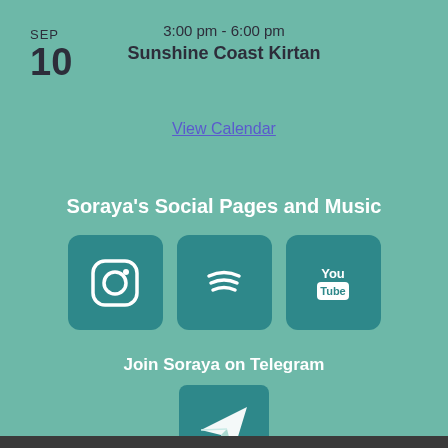SEP
10
3:00 pm - 6:00 pm
Sunshine Coast Kirtan
View Calendar
Soraya’s Social Pages and Music
[Figure (illustration): Three teal rounded-square social media icons: Instagram, Spotify, YouTube]
Join Soraya on Telegram
[Figure (illustration): Telegram paper plane icon on teal background]